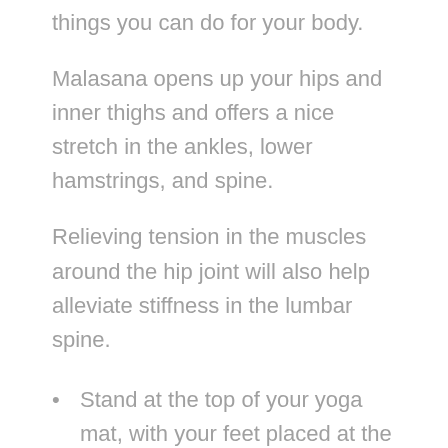things you can do for your body.
Malasana opens up your hips and inner thighs and offers a nice stretch in the ankles, lower hamstrings, and spine.
Relieving tension in the muscles around the hip joint will also help alleviate stiffness in the lumbar spine.
Stand at the top of your yoga mat, with your feet placed at the outer edges of the mat.